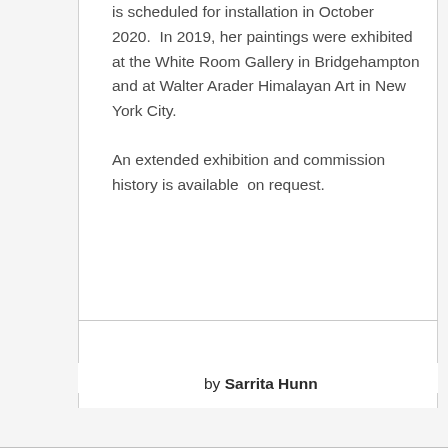is scheduled for installation in October 2020.  In 2019, her paintings were exhibited at the White Room Gallery in Bridgehampton and at Walter Arader Himalayan Art in New York City.

An extended exhibition and commission history is available  on request.
by Sarrita Hunn